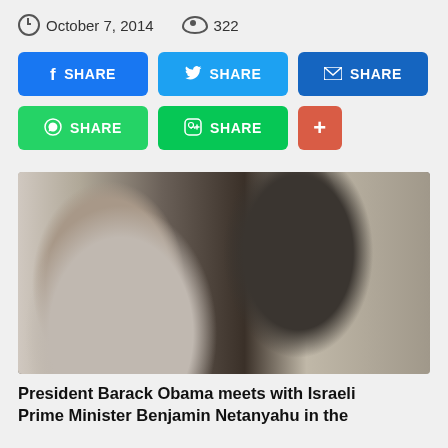October 7, 2014   322
[Figure (other): Social share buttons: Facebook SHARE, Twitter SHARE, Email SHARE, WhatsApp SHARE, Line SHARE, plus button]
[Figure (photo): President Barack Obama meets with Israeli Prime Minister Benjamin Netanyahu in the Oval Office]
President Barack Obama meets with Israeli Prime Minister Benjamin Netanyahu in the